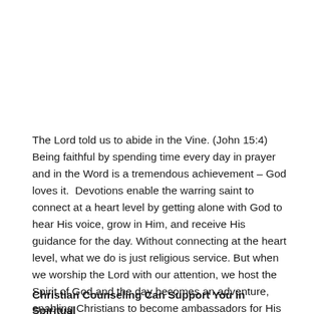The Lord told us to abide in the Vine. (John 15:4) Being faithful by spending time every day in prayer and in the Word is a tremendous achievement – God loves it.  Devotions enable the warring saint to connect at a heart level by getting alone with God to hear His voice, grow in Him, and receive His guidance for the day. Without connecting at the heart level, what we do is just religious service. But when we worship the Lord with our attention, we host the Spirit of God and the day becomes an adventure, enabling Christians to become ambassadors for His Majesty the King.
Christian Counseling Can Support You in Spiritual